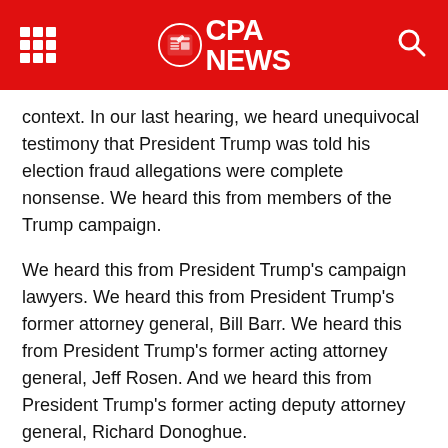CPA NEWS
context. In our last hearing, we heard unequivocal testimony that President Trump was told his election fraud allegations were complete nonsense. We heard this from members of the Trump campaign.
We heard this from President Trump's campaign lawyers. We heard this from President Trump's former attorney general, Bill Barr. We heard this from President Trump's former acting attorney general, Jeff Rosen. And we heard this from President Trump's former acting deputy attorney general, Richard Donoghue.
We heard from members of President Trump's White House staff as well. Today we're focusing on President Trump's relentless effort to pressure Mike Pence to refuse to count electoral votes on January 6th. Here again is how the former